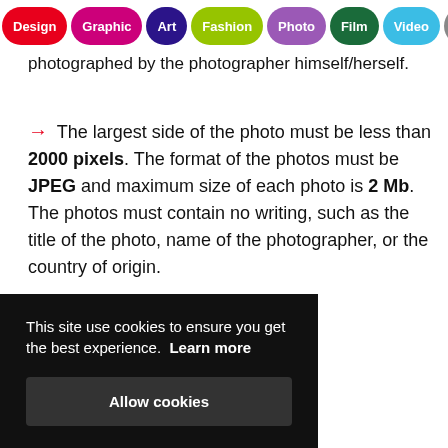Design | Graphic | Art | Fashion | Photo | Film | Video | Music
photographed by the photographer himself/herself.
→ The largest side of the photo must be less than 2000 pixels. The format of the photos must be JPEG and maximum size of each photo is 2 Mb. The photos must contain no writing, such as the title of the photo, name of the photographer, or the country of origin.
This site use cookies to ensure you get the best experience. Learn more
Allow cookies